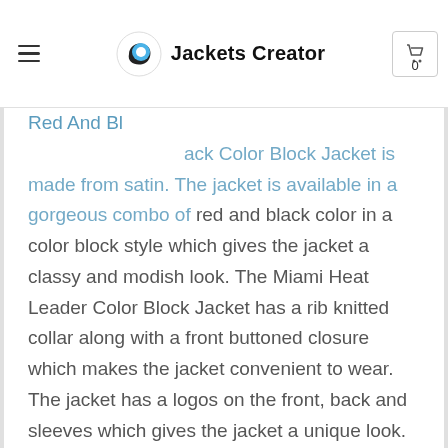Jackets Creator
Red And Black Color Block Jacket is made from satin. The jacket is available in a gorgeous combo of red and black color in a color block style which gives the jacket a classy and modish look. The Miami Heat Leader Color Block Jacket has a rib knitted collar along with a front buttoned closure which makes the jacket convenient to wear. The jacket has a logos on the front, back and sleeves which gives the jacket a unique look. The inner of the jacket consists of a soft viscose lining which provides comfort to the wearer. To keep things, the jacket has two side waist pockets which makes the jacket even more appealing. The sleeves of the jacket are long and fitting with rib knitted cuffs. The superior quality stitching increases the durability of this gorgeous jacket. The Starter Miami Heat 75th Anniversary Leader Red And Black Color Block Jacket is the